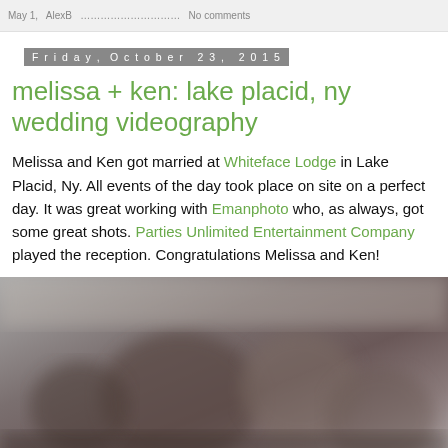May 1, AlexB [link] ... No comments
Friday, October 23, 2015
melissa + ken: lake placid, ny wedding videography
Melissa and Ken got married at Whiteface Lodge in Lake Placid, Ny. All events of the day took place on site on a perfect day. It was great working with Emanphoto who, as always, got some great shots. Parties Unlimited Entertainment Company played the reception. Congratulations Melissa and Ken!
[Figure (photo): Blurred wedding photo showing people indoors]